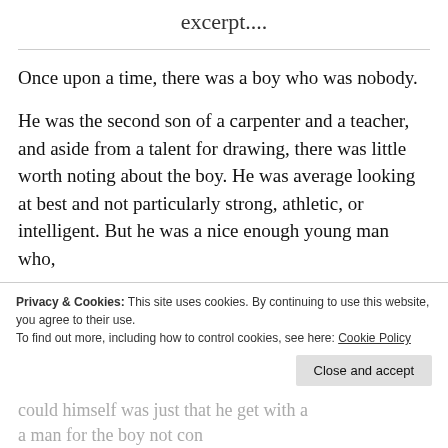excerpt....
Once upon a time, there was a boy who was nobody.
He was the second son of a carpenter and a teacher, and aside from a talent for drawing, there was little worth noting about the boy. He was average looking at best and not particularly strong, athletic, or intelligent. But he was a nice enough young man who,
[cookie banner] Privacy & Cookies: This site uses cookies. By continuing to use this website, you agree to their use. To find out more, including how to control cookies, see here: Cookie Policy
[partial text continued, obscured]